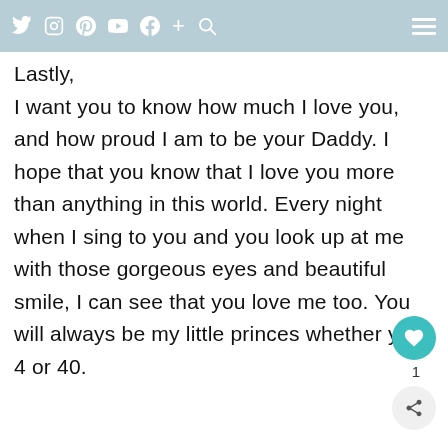Social media navigation bar with icons: Twitter, Instagram, Pinterest, YouTube, Facebook, Plus, Search, and hamburger menu
Lastly,
I want you to know how much I love you, and how proud I am to be your Daddy. I hope that you know that I love you more than anything in this world. Every night when I sing to you and you look up at me with those gorgeous eyes and beautiful smile, I can see that you love me too. You will always be my little princes whether your 4 or 40.